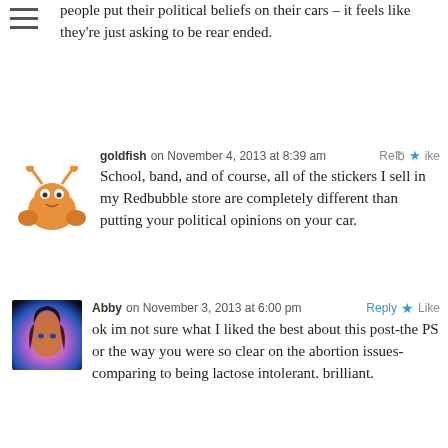people put their political beliefs on their cars – it feels like they're just asking to be rear ended.
[Figure (other): Hamburger menu icon (three horizontal lines)]
goldfish on November 4, 2013 at 8:39 am  Reply  Like
School, band, and of course, all of the stickers I sell in my Redbubble store are completely different than putting your political opinions on your car.
[Figure (illustration): Goldfish/crab avatar illustration with orange cartoon crab figure]
Abby on November 3, 2013 at 6:00 pm  Reply  Like
ok im not sure what I liked the best about this post-the PS or the way you were so clear on the abortion issues-comparing to being lactose intolerant. brilliant.
[Figure (photo): Profile photo of Abby with colorful purple and orange tones]